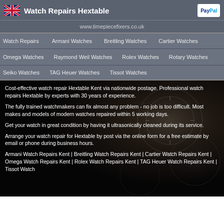Watch Repairs Hextable
www.timepiecefixers.co.uk
Watch Repairs
Armani Watches
Breitling Watches
Cartier Watches
Omega Watches
Raymond Weil Watches
Rolex Watches
Rotary Watches
Seiko Watches
TAG Heuer Watches
Tissot Watches
[Figure (photo): Background photo of watch faces and mechanisms, sepia/dark toned]
Cost-effective watch repair Hextable Kent via nationwide postage. Professional watch repairs Hextable by experts with 30 years of experience.
The fully trained watchmakers can fix almost any problem - no job is too difficult. Most makes and models of modern watches repaired within 5 working days.
Get your watch in great condition by having it ultrasonically cleaned during its service.
Arrange your watch repair for Hextable by post via the online form for a free estimate by email or phone during business hours.
Armani Watch Repairs Kent | Breitling Watch Repairs Kent | Cartier Watch Repairs Kent | Omega Watch Repairs Kent | Rolex Watch Repairs Kent | TAG Heuer Watch Repairs Kent | Tissot Watch